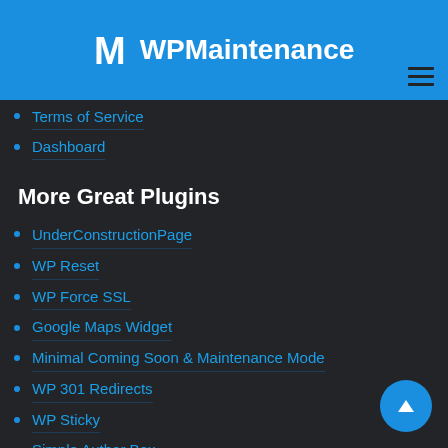WPMaintenance
Terms of Service
Dashboard
More Great Plugins
UnderConstructionPage
WP Reset
WP Force SSL
Google Maps Widget
Minimal Coming Soon & Maintenance Mode
WP 301 Redirects
WP Sticky
Simple Author Box